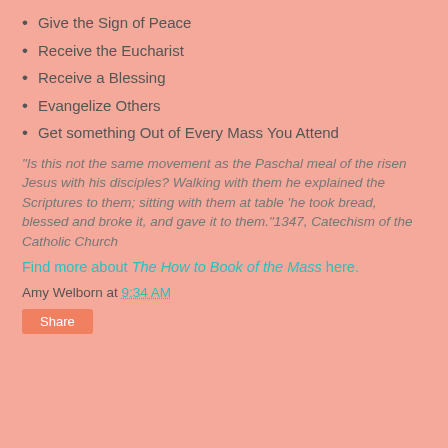Give the Sign of Peace
Receive the Eucharist
Receive a Blessing
Evangelize Others
Get something Out of Every Mass You Attend
"Is this not the same movement as the Paschal meal of the risen Jesus with his disciples? Walking with them he explained the Scriptures to them; sitting with them at table 'he took bread, blessed and broke it, and gave it to them."1347, Catechism of the Catholic Church
Find more about The How to Book of the Mass here.
Amy Welborn at 9:34 AM
Share